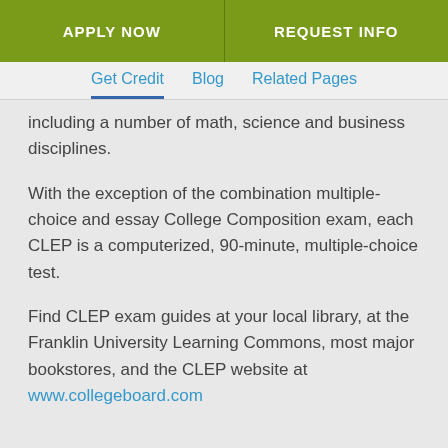APPLY NOW | REQUEST INFO
Get Credit   Blog   Related Pages
including a number of math, science and business disciplines.
With the exception of the combination multiple-choice and essay College Composition exam, each CLEP is a computerized, 90-minute, multiple-choice test.
Find CLEP exam guides at your local library, at the Franklin University Learning Commons, most major bookstores, and the CLEP website at www.collegeboard.com